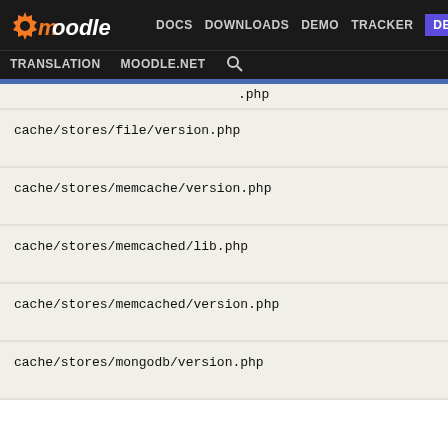Moodle | DOCS | DOWNLOADS | DEMO | TRACKER | DEV | TRANSLATION | MOODLE.NET
cache/stores/file/version.php
cache/stores/memcache/version.php
cache/stores/memcached/lib.php
cache/stores/memcached/version.php
cache/stores/mongodb/version.php